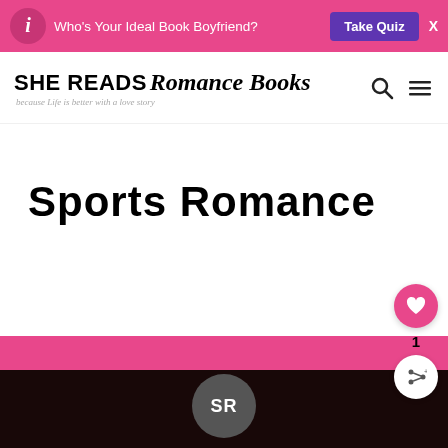Who's Your Ideal Book Boyfriend? Take Quiz X
[Figure (logo): SHE READS Romance Books logo with tagline 'because life is better with a love story']
Sports Romance
[Figure (logo): SR circular logo at the bottom of the page]